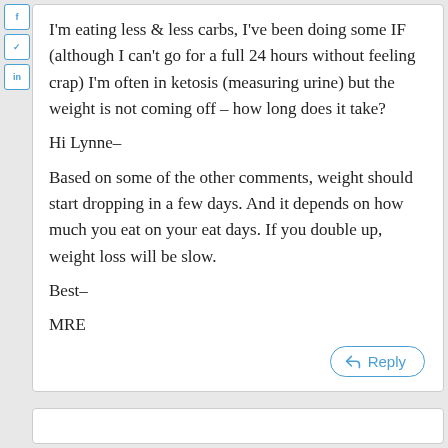I'm eating less & less carbs, I've been doing some IF (although I can't go for a full 24 hours without feeling crap) I'm often in ketosis (measuring urine) but the weight is not coming off – how long does it take?
Hi Lynne–
Based on some of the other comments, weight should start dropping in a few days. And it depends on how much you eat on your eat days. If you double up, weight loss will be slow.
Best–
MRE